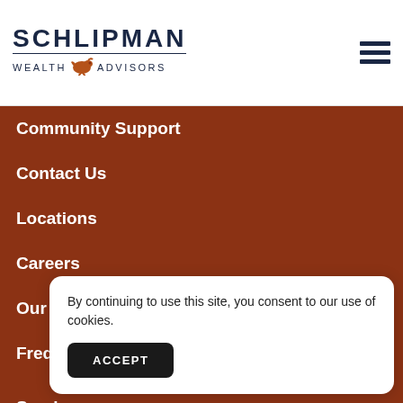[Figure (logo): Schlipman Wealth Advisors logo with bull icon]
Community Support
Contact Us
Locations
Careers
Our Partners
Frequently Asked Questions
Services
Fi
In
By continuing to use this site, you consent to our use of cookies.